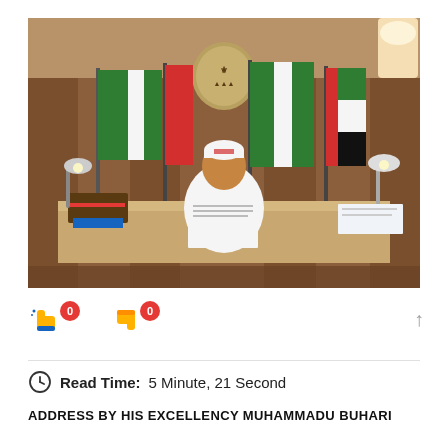[Figure (photo): A man wearing a white robe and traditional white cap sits at a large desk reading documents. Behind him are several flags and a coat of arms mounted on wooden paneled walls. There are desk lamps and papers on the desk. The setting appears to be an official government office.]
👍 0   👎 0
Read Time:  5 Minute, 21 Second
ADDRESS BY HIS EXCELLENCY MUHAMMADU BUHARI